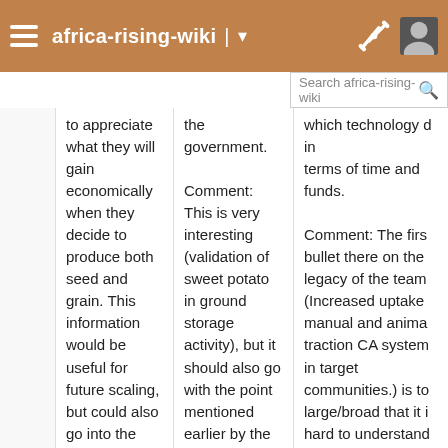africa-rising-wiki
to appreciate what they will gain economically when they decide to produce both seed and grain. This information would be useful for future scaling, but could also go into the exit strategy. Comment: We know for
the government. Comment: This is very interesting (validation of sweet potato in ground storage activity), but it should also go with the point mentioned earlier by the team about use of vines
which technology d in terms of time and funds. Comment: The first bullet there on the legacy of the team (Increased uptake manual and animal traction CA systems in target communities.) is to large/broad that it is hard to understand what you mean. You should mention things like you've been successful in